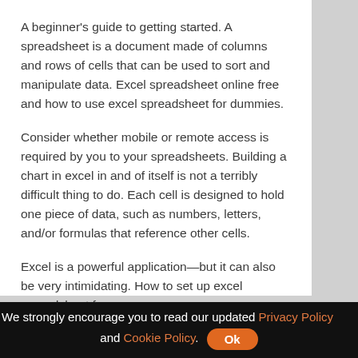A beginner's guide to getting started. A spreadsheet is a document made of columns and rows of cells that can be used to sort and manipulate data. Excel spreadsheet online free and how to use excel spreadsheet for dummies.
Consider whether mobile or remote access is required by you to your spreadsheets. Building a chart in excel in and of itself is not a terribly difficult thing to do. Each cell is designed to hold one piece of data, such as numbers, letters, and/or formulas that reference other cells.
Excel is a powerful application—but it can also be very intimidating. How to set up excel spreadsheet for
We strongly encourage you to read our updated Privacy Policy and Cookie Policy. Ok